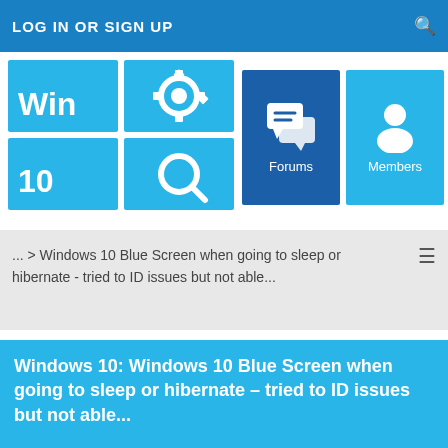LOG IN OR SIGN UP
[Figure (logo): Win 10 logo with Windows tiles and gear/search icons in light blue]
[Figure (infographic): Forums button tile with chat bubble icon, dark blue background]
[Figure (infographic): Members button tile with person/user icon, medium blue background]
... > Windows 10 Blue Screen when going to sleep or hibernate - tried to ID issues but not able...
Windows 10: Windows 10 Blue Screen when going to sleep or hibernate – tried to ID issues but not able...